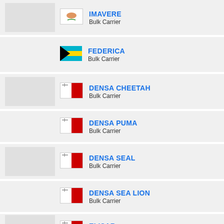IMAVERE
Bulk Carrier
FEDERICA
Bulk Carrier
DENSA CHEETAH
Bulk Carrier
DENSA PUMA
Bulk Carrier
DENSA SEAL
Bulk Carrier
DENSA SEA LION
Bulk Carrier
ELISAR
Bulk Carrier